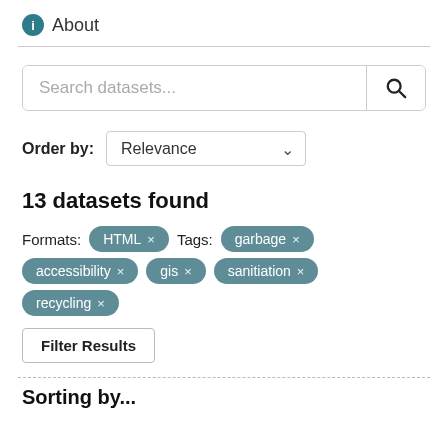About
[Figure (screenshot): Search datasets input box with search button]
Order by: Relevance
13 datasets found
Formats: HTML × Tags: garbage × accessibility × gis × sanitiation × recycling ×
Filter Results
Sorting by...